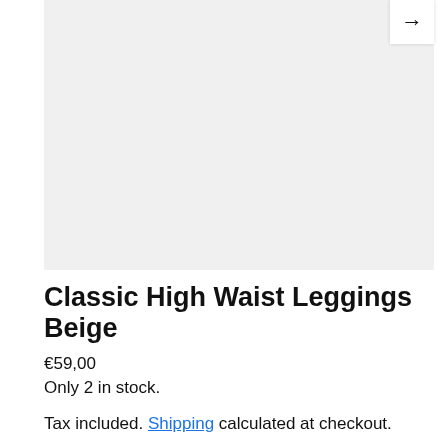[Figure (photo): Product image area showing a light gray placeholder for Classic High Waist Leggings Beige]
Classic High Waist Leggings Beige
€59,00
Only 2 in stock.
Tax included. Shipping calculated at checkout.